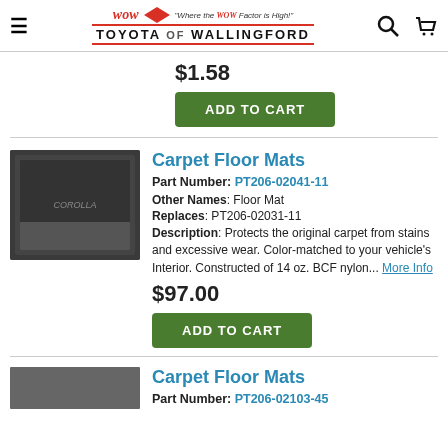WOW Toyota of Wallingford - Where the WOW Factor is High!
$1.58
ADD TO CART
Carpet Floor Mats
Part Number: PT206-02041-11
Other Names: Floor Mat
Replaces: PT206-02031-11
Description: Protects the original carpet from stains and excessive wear. Color-matched to your vehicle's Interior. Constructed of 14 oz. BCF nylon... More Info
$97.00
ADD TO CART
Carpet Floor Mats
Part Number: PT206-02103-45